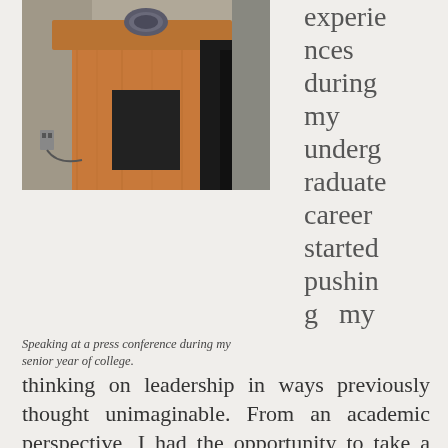[Figure (photo): Person speaking at a wooden podium/lectern with a city seal emblem, with microphone. The lower body of the speaker is visible, wearing dark pants, standing behind the wood lectern.]
Speaking at a press conference during my senior year of college.
experiences during my undergraduate career started pushing my thinking on leadership in ways previously thought unimaginable. From an academic perspective, I had the opportunity to take a class called Leadership Communication, which formally introduced me to leadership theory for the first time. We spent a lot of time in that